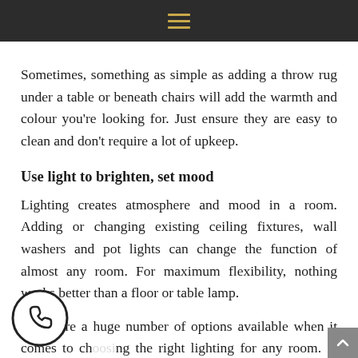≡
Sometimes, something as simple as adding a throw rug under a table or beneath chairs will add the warmth and colour you're looking for. Just ensure they are easy to clean and don't require a lot of upkeep.
Use light to brighten, set mood
Lighting creates atmosphere and mood in a room. Adding or changing existing ceiling fixtures, wall washers and pot lights can change the function of almost any room. For maximum flexibility, nothing works better than a floor or table lamp.
There are a huge number of options available when it comes to choosing the right lighting for any room. Is your kitchen really dim, or just too dark? Maybe all it needs is new track lighting that